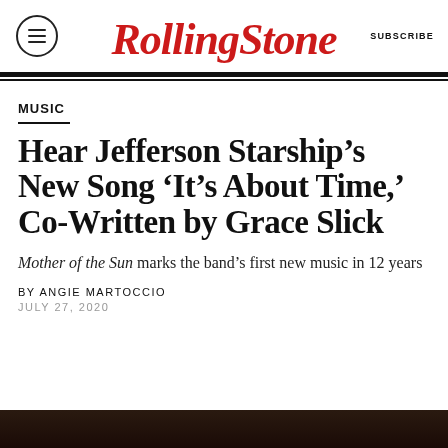Rolling Stone | SUBSCRIBE
MUSIC
Hear Jefferson Starship’s New Song ‘It’s About Time,’ Co-Written by Grace Slick
Mother of the Sun marks the band’s first new music in 12 years
BY ANGIE MARTOCCIO
JULY 27, 2020
[Figure (photo): Dark photo bar at the bottom of the page, partially visible]